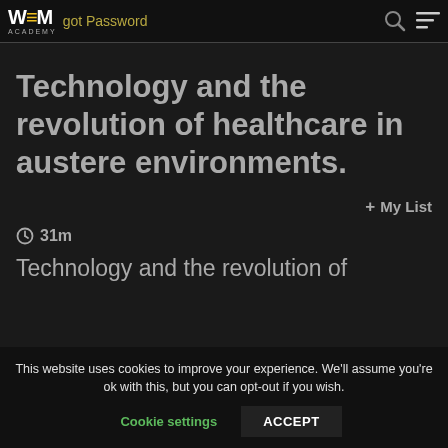WEM ACADEMY — Forgot Password
Technology and the revolution of healthcare in austere environments.
+ My List
31m
Technology and the revolution of
This website uses cookies to improve your experience. We'll assume you're ok with this, but you can opt-out if you wish. Cookie settings ACCEPT